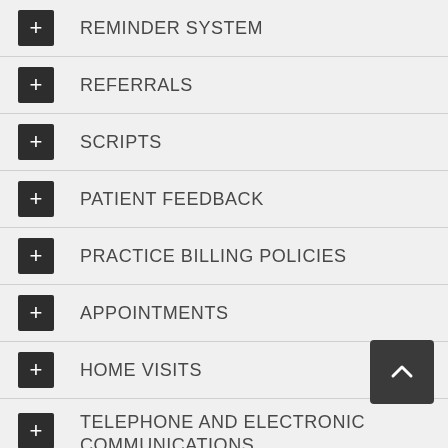REMINDER SYSTEM
REFERRALS
SCRIPTS
PATIENT FEEDBACK
PRACTICE BILLING POLICIES
APPOINTMENTS
HOME VISITS
TELEPHONE AND ELECTRONIC COMMUNICATIONS
SERVICING AREAS